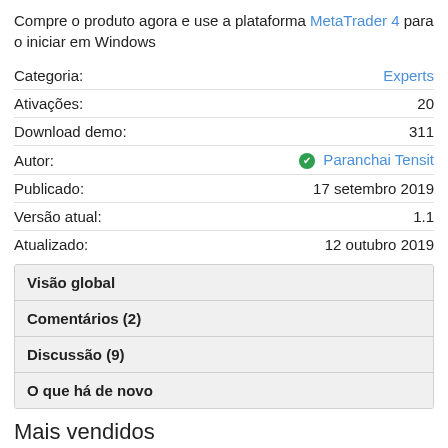Compre o produto agora e use a plataforma MetaTrader 4 para o iniciar em Windows
| Label | Value |
| --- | --- |
| Categoria: | Experts |
| Ativações: | 20 |
| Download demo: | 311 |
| Autor: | ✔ Paranchai Tensit |
| Publicado: | 17 setembro 2019 |
| Versão atual: | 1.1 |
| Atualizado: | 12 outubro 2019 |
Visão global
Comentários (2)
Discussão (9)
O que há de novo
Mais vendidos